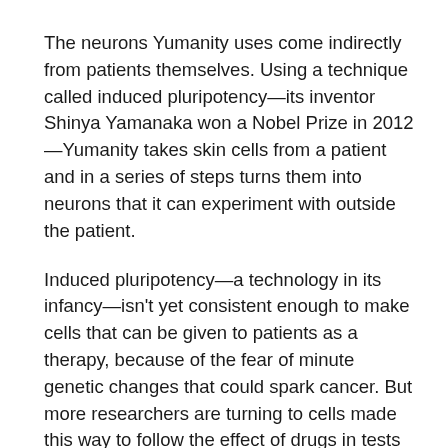The neurons Yumanity uses come indirectly from patients themselves. Using a technique called induced pluripotency—its inventor Shinya Yamanaka won a Nobel Prize in 2012—Yumanity takes skin cells from a patient and in a series of steps turns them into neurons that it can experiment with outside the patient.
Induced pluripotency—a technology in its infancy—isn't yet consistent enough to make cells that can be given to patients as a therapy, because of the fear of minute genetic changes that could spark cancer. But more researchers are turning to cells made this way to follow the effect of drugs in tests run outside the body. In the case of Yumanity, Coles and Lindquist wanted a better way to develop drugs to tackle neurodegeneration. (Lindquist is not an employee of the company but chairs the scientific advisory board.)